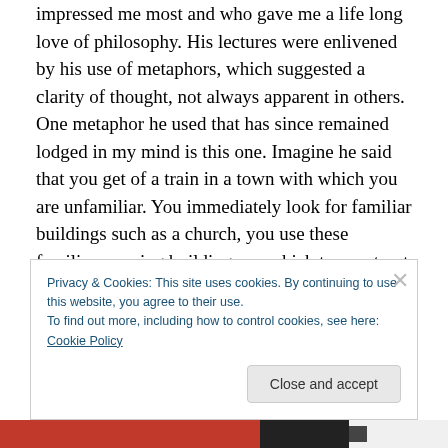impressed me most and who gave me a life long love of philosophy. His lectures were enlivened by his use of metaphors, which suggested a clarity of thought, not always apparent in others. One metaphor he used that has since remained lodged in my mind is this one. Imagine he said that you get of a train in a town with which you are unfamiliar. You immediately look for familiar buildings such as a church, you use these familiar seeming buildings on which to construct a mental map of the area. Without this internal map from which you can judge your location at a particular moment you would get lost. What he was stating
Privacy & Cookies: This site uses cookies. By continuing to use this website, you agree to their use.
To find out more, including how to control cookies, see here: Cookie Policy